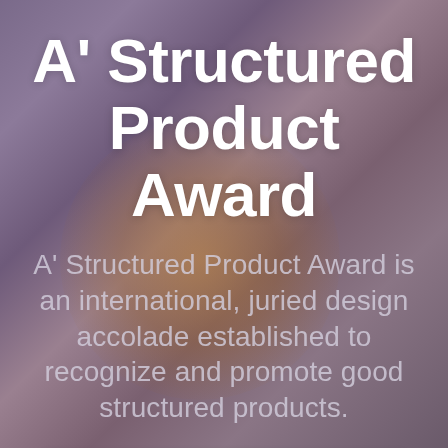[Figure (photo): Blurred background image showing a gold award trophy/statuette against a purple-pink blurred background.]
A' Structured Product Award
A' Structured Product Award is an international, juried design accolade established to recognize and promote good structured products.
Nominate Structured Products